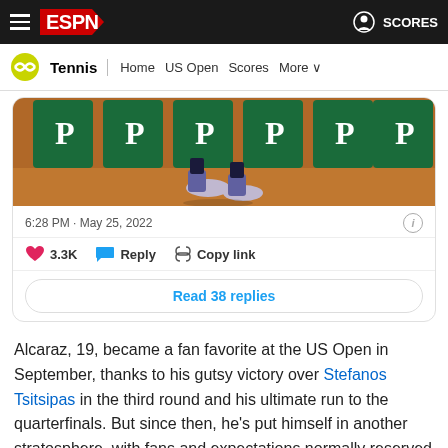ESPN - Tennis | Home US Open Scores More
[Figure (photo): Close-up photo of a tennis player's feet and shoes on a clay court, with green sponsor banners in the background]
6:28 PM · May 25, 2022
3.3K  Reply  Copy link
Read 38 replies
Alcaraz, 19, became a fan favorite at the US Open in September, thanks to his gutsy victory over Stefanos Tsitsipas in the third round and his ultimate run to the quarterfinals. But since then, he's put himself in another stratosphere, with fans and expectations normally reserved only for Rafael Nadal,